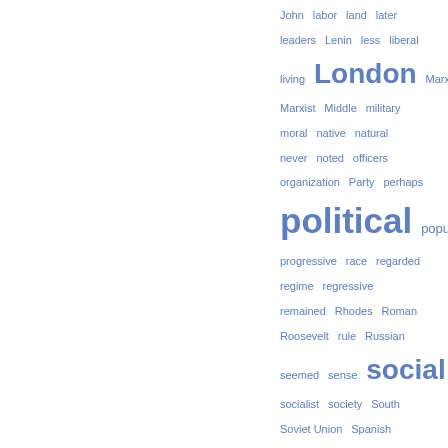[Figure (other): Word cloud (tag cloud) showing various political and social science terms in varying font sizes, rendered in blue. Larger words include: London, political, social, Western, United. Medium words include: leaders, Lenin, liberal, living, Marx, Marxist, Middle, military, moral, native, natural, never, noted, officers, organization, Party, perhaps, population, progressive, race, regarded, regime, regressive, remained, Rhodes, Roman, Roosevelt, rule, Russian, seemed, sense, socialist, society, South, Soviet Union, Spanish, Study, theory, took, trade, trans, universal, West, women. Smaller words appear throughout.]